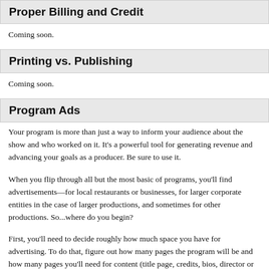Proper Billing and Credit
Coming soon.
Printing vs. Publishing
Coming soon.
Program Ads
Your program is more than just a way to inform your audience about the show and who worked on it. It's a powerful tool for generating revenue and advancing your goals as a producer. Be sure to use it.
When you flip through all but the most basic of programs, you'll find advertisements—for local restaurants or businesses, for larger corporate entities in the case of larger productions, and sometimes for other productions. So...where do you begin?
First, you'll need to decide roughly how much space you have for advertising. To do that, figure out how many pages the program will be and how many pages you'll need for content (title page, credits, bios, director or author's notes, etc). What remains is your advertising space. If you suddenly find